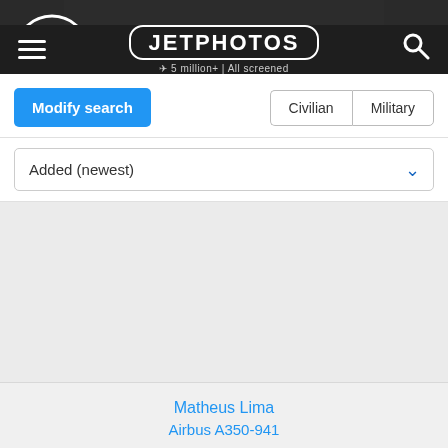[Figure (photo): JetPhotos website screenshot showing airplane in dark banner at top, navigation bar with hamburger menu, JETPHOTOS logo, and search icon.]
JETPHOTOS | 5 million+ | All screened
Modify search
Civilian   Military
Added (newest)
Matheus Lima
Airbus A350-941